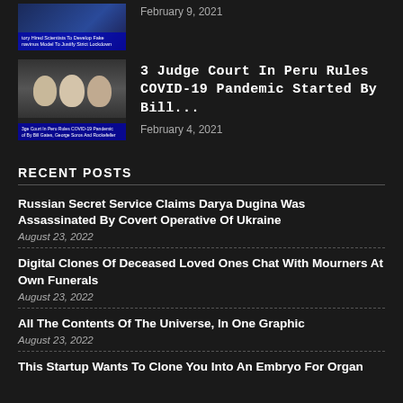[Figure (screenshot): Thumbnail image of a news article with blue overlay and caption text]
February 9, 2021
[Figure (photo): Thumbnail photo of three men in suits with blue overlay caption text reading: 3 Judge Court In Peru Rules COVID-19 Pandemic of By Bill Gates, George Soros And Rockefeller]
3 Judge Court In Peru Rules COVID-19 Pandemic Started By Bill...
February 4, 2021
RECENT POSTS
Russian Secret Service Claims Darya Dugina Was Assassinated By Covert Operative Of Ukraine
August 23, 2022
Digital Clones Of Deceased Loved Ones Chat With Mourners At Own Funerals
August 23, 2022
All The Contents Of The Universe, In One Graphic
August 23, 2022
This Startup Wants To Clone You Into An Embryo For Organ